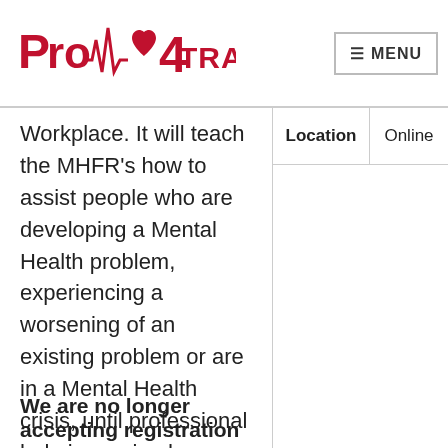[Figure (logo): Pro Heart Training logo with red heartbeat line and heart shape]
MENU
Workplace. It will teach the MHFR's how to assist people who are developing a Mental Health problem, experiencing a worsening of an existing problem or are in a Mental Health crisis, until professional help is received.
| Location | Online |
| --- | --- |
We are no longer accepting registration